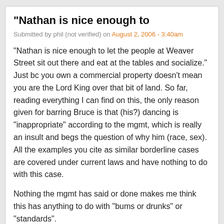"Nathan is nice enough to
Submitted by phil (not verified) on August 2, 2006 - 3:40am
"Nathan is nice enough to let the people at Weaver Street sit out there and eat at the tables and socialize." Just bc you own a commercial property doesn't mean you are the Lord King over that bit of land. So far, reading everything I can find on this, the only reason given for barring Bruce is that (his?) dancing is "inappropriate" according to the mgmt, which is really an insult and begs the question of why him (race, sex). All the examples you cite as similar borderline cases are covered under current laws and have nothing to do with this case.
Nothing the mgmt has said or done makes me think this has anything to do with "bums or drunks" or "standards".
Log in to post comments
As an owner of a business in